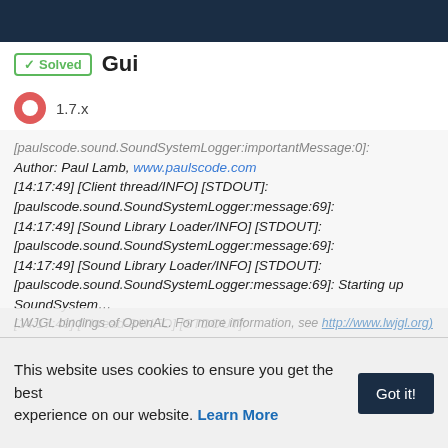✓ Solved  Gui
1.7.x
Log in to reply
[paulscode.sound.SoundSystemLogger:importantMessage:0]: Author: Paul Lamb, www.paulscode.com [14:17:49] [Client thread/INFO] [STDOUT]: [paulscode.sound.SoundSystemLogger:message:69]: [14:17:49] [Sound Library Loader/INFO] [STDOUT]: [paulscode.sound.SoundSystemLogger:message:69]: [14:17:49] [Sound Library Loader/INFO] [STDOUT]: [paulscode.sound.SoundSystemLogger:message:69]: Starting up SoundSystem… [14:17:49] [Thread-8/INFO] [STDOUT]: [paulscode.sound.SoundSystemLogger:message:69]: Initializing LWJGL OpenAL [14:17:49] [Thread-8/INFO] [STDOUT]: [paulscode.sound.SoundSystemLogger:message:69]: (The
This website uses cookies to ensure you get the best experience on our website. Learn More
Got it!